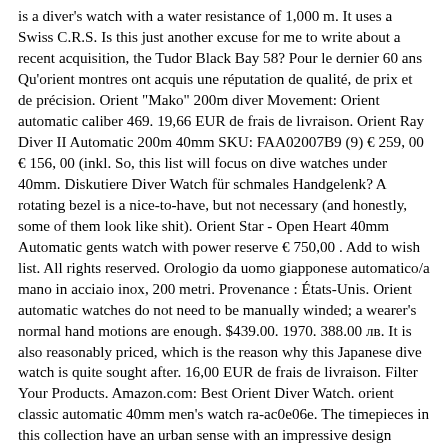is a diver's watch with a water resistance of 1,000 m. It uses a Swiss C.R.S. Is this just another excuse for me to write about a recent acquisition, the Tudor Black Bay 58? Pour le dernier 60 ans Qu'orient montres ont acquis une réputation de qualité, de prix et de précision. Orient "Mako" 200m diver Movement: Orient automatic caliber 469. 19,66 EUR de frais de livraison. Orient Ray Diver II Automatic 200m 40mm SKU: FAA02007B9 (9) € 259, 00 € 156, 00 (inkl. So, this list will focus on dive watches under 40mm. Diskutiere Diver Watch für schmales Handgelenk? A rotating bezel is a nice-to-have, but not necessary (and honestly, some of them look like shit). Orient Star - Open Heart 40mm Automatic gents watch with power reserve € 750,00 . Add to wish list. All rights reserved. Orologio da uomo giapponese automatico/a mano in acciaio inox, 200 metri. Provenance : États-Unis. Orient automatic watches do not need to be manually winded; a wearer's normal hand motions are enough. $439.00. 1970. 388.00 лв. It is also reasonably priced, which is the reason why this Japanese dive watch is quite sought after. 16,00 EUR de frais de livraison. Filter Your Products. Amazon.com: Best Orient Diver Watch. orient classic automatic 40mm men's watch ra-ac0e06e. The timepieces in this collection have an urban sense with an impressive design reminiscent of adventure and ambition in everyday life., Showing  Also, Take 15% Off Sitewide with GIFT20. Mechanical Sports, Leather Strap - 41.0mm (RE-AU0201E), Mechanical Sports, Leather Strap - 41.0mm (RE-AU0202N), Mechanical Sports, Leather Strap - 41.0mm (RE-